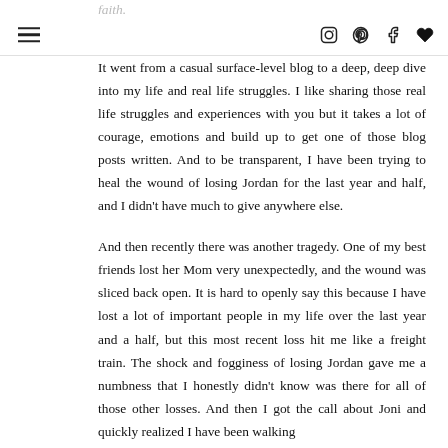faith.
It went from a casual surface-level blog to a deep, deep dive into my life and real life struggles. I like sharing those real life struggles and experiences with you but it takes a lot of courage, emotions and build up to get one of those blog posts written. And to be transparent, I have been trying to heal the wound of losing Jordan for the last year and half, and I didn't have much to give anywhere else.
And then recently there was another tragedy. One of my best friends lost her Mom very unexpectedly, and the wound was sliced back open. It is hard to openly say this because I have lost a lot of important people in my life over the last year and a half, but this most recent loss hit me like a freight train. The shock and fogginess of losing Jordan gave me a numbness that I honestly didn't know was there for all of those other losses. And then I got the call about Joni and quickly realized I have been walking